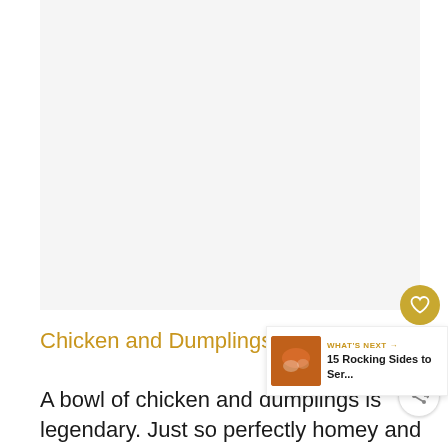[Figure (photo): Large food/recipe image placeholder area, light gray background]
Chicken and Dumplings sides
A bowl of chicken and dumplings is legendary. Just so perfectly homey and